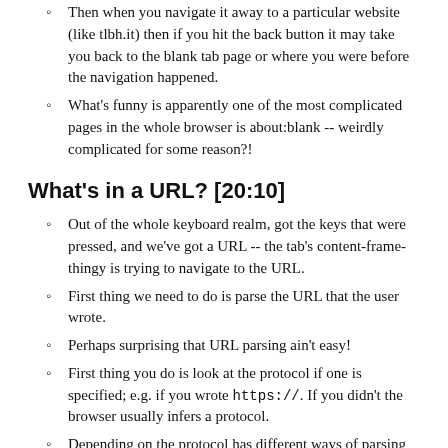Then when you navigate it away to a particular website (like tlbh.it) then if you hit the back button it may take you back to the blank tab page or where you were before the navigation happened.
What's funny is apparently one of the most complicated pages in the whole browser is about:blank -- weirdly complicated for some reason?!
What's in a URL? [20:10]
Out of the whole keyboard realm, got the keys that were pressed, and we've got a URL -- the tab's content-frame-thingy is trying to navigate to the URL.
First thing we need to do is parse the URL that the user wrote.
Perhaps surprising that URL parsing ain't easy!
First thing you do is look at the protocol if one is specified; e.g. if you wrote https://. If you didn't the browser usually infers a protocol.
Depending on the protocol has different ways of parsing things; file:// and gopher:// and whatever else.
We're going to focus on the http[s]://, others have similar inner workings.
The way http-like ones work you kind of parse them inside-